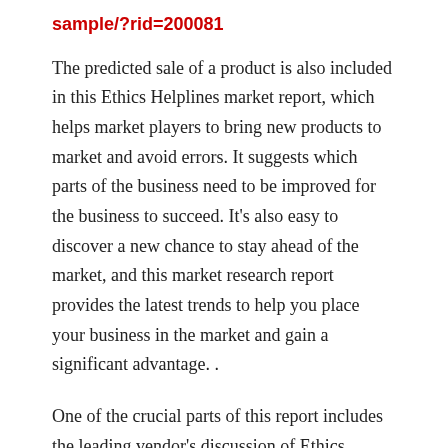sample/?rid=200081
The predicted sale of a product is also included in this Ethics Helplines market report, which helps market players to bring new products to market and avoid errors. It suggests which parts of the business need to be improved for the business to succeed. It’s also easy to discover a new chance to stay ahead of the market, and this market research report provides the latest trends to help you place your business in the market and gain a significant advantage. .
One of the crucial parts of this report includes the leading vendor’s discussion of Ethics Helplines industry brand summary, profiles, market revenue, and financial analysis. The report will help market players to develop future business